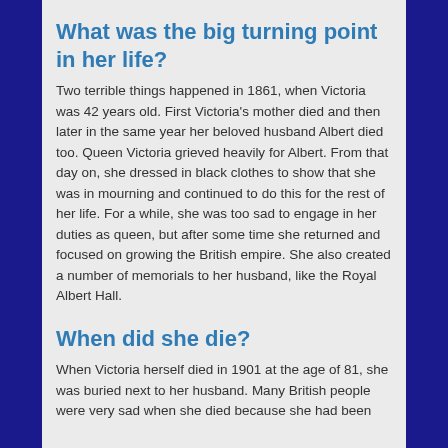What was the big turning point in her life?
Two terrible things happened in 1861, when Victoria was 42 years old. First Victoria's mother died and then later in the same year her beloved husband Albert died too. Queen Victoria grieved heavily for Albert. From that day on, she dressed in black clothes to show that she was in mourning and continued to do this for the rest of her life. For a while, she was too sad to engage in her duties as queen, but after some time she returned and focused on growing the British empire. She also created a number of memorials to her husband, like the Royal Albert Hall.
When did she die?
When Victoria herself died in 1901 at the age of 81, she was buried next to her husband. Many British people were very sad when she died because she had been